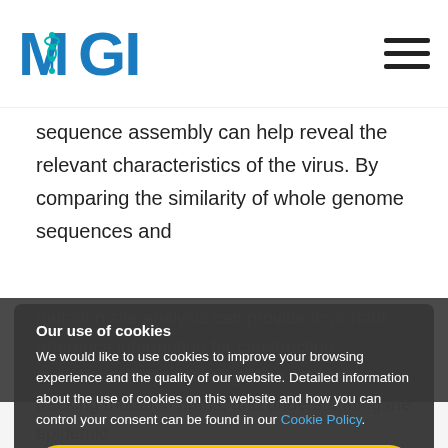MGI
sequence assembly can help reveal the relevant characteristics of the virus. By comparing the similarity of whole genome sequences and mutation site analysis can provide important reference information for constructing evolutionary trees, tracing virus sources, tracking mutation paths, and understanding the epidemic
Our use of cookies
We would like to use cookies to improve your browsing experience and the quality of our website. Detailed information about the use of cookies on this website and how you can control your consent can be found in our Cookie Policy.
Accept only strictly necessary cookies
Accept all cookies